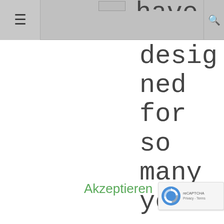≡  [navigation bar with hamburger menu and search icon]
have assigned for so many years. Therefore, you might be in a position of justifying the
Akzeptieren
[Figure (other): reCAPTCHA badge with Google logo, showing 'Privacy - Terms' text]